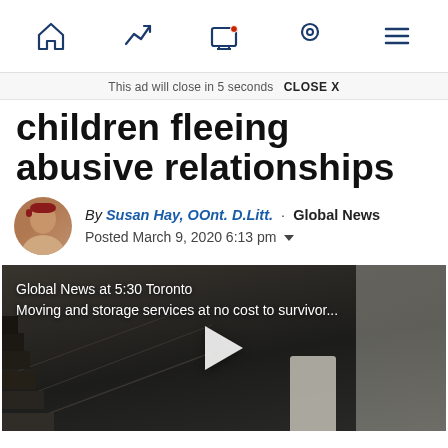[Navigation bar with home, trending, notifications, location, and menu icons]
This ad will close in 5 seconds  CLOSE X
children fleeing abusive relationships
By Susan Hay, OOnt. D.Litt. · Global News
Posted March 9, 2020 6:13 pm
[Figure (screenshot): Video thumbnail showing staircase scene with text overlay: 'Global News at 5:30 Toronto / Moving and storage services at no cost to survivor...' and a play button]